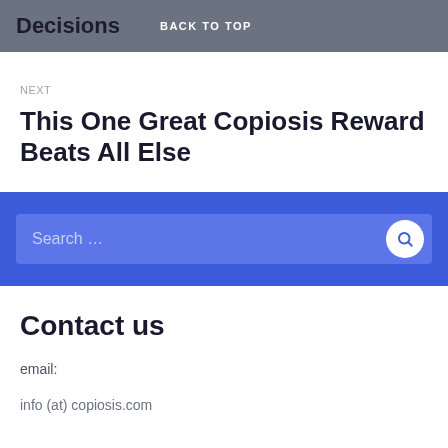Decisions  BACK TO TOP
NEXT
This One Great Copiosis Reward Beats All Else
[Figure (other): Search bar with blue background and search button]
Contact us
email:
info (at) copiosis.com